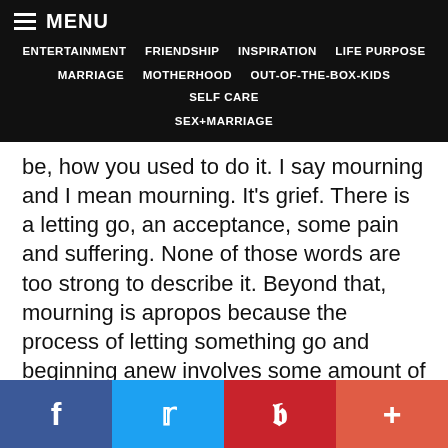MENU | ENTERTAINMENT | FRIENDSHIP | INSPIRATION | LIFE PURPOSE | MARRIAGE | MOTHERHOOD | OUT-OF-THE-BOX-KIDS | SELF CARE | SEX+MARRIAGE
be, how you used to do it. I say mourning and I mean mourning. It’s grief. There is a letting go, an acceptance, some pain and suffering. None of those words are too strong to describe it. Beyond that, mourning is apropos because the process of letting something go and beginning anew involves some amount of respect.
Not everyone mourns or grieves their “old self” as they enter the parenting world, and I think these folks are magical. When people claim they
f  t  p  +